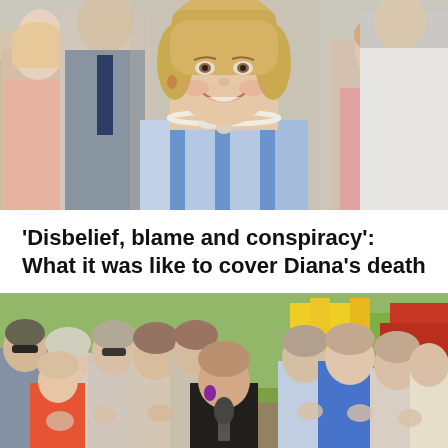[Figure (photo): Photo of Princess Diana smiling, wearing a blue and white striped dress and pearl necklace, surrounded by people in the background]
'Disbelief, blame and conspiracy': What it was like to cover Diana's death
[Figure (photo): Group of people gathered outdoors near a playground, a woman in a black sleeveless top speaking at a microphone in the center, others applauding around her]